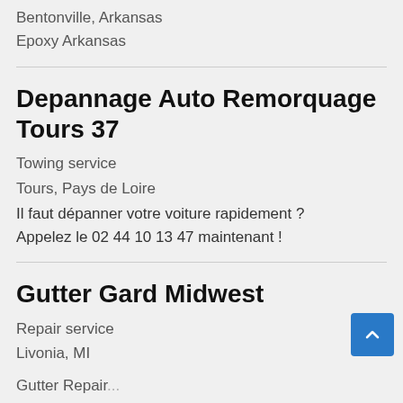Bentonville, Arkansas
Epoxy Arkansas
Depannage Auto Remorquage Tours 37
Towing service
Tours, Pays de Loire
Il faut dépanner votre voiture rapidement ? Appelez le 02 44 10 13 47 maintenant !
Gutter Gard Midwest
Repair service
Livonia, MI
Gutter Repair...